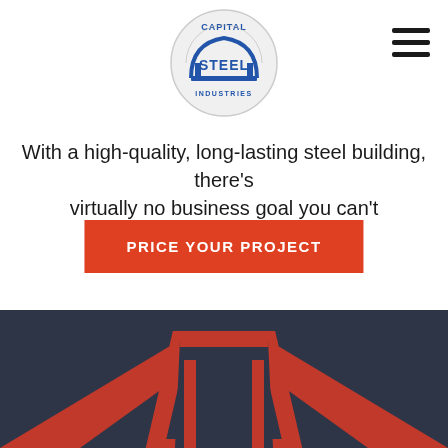[Figure (logo): Capital Steel Industries circular logo with blue steel building arch illustration and company name]
With a high-quality, long-lasting steel building, there's virtually no business goal you can't accomplish.
PRICE YOUR PROJECT
[Figure (illustration): Orange/red steel building roofline graphic silhouette on dark navy background]